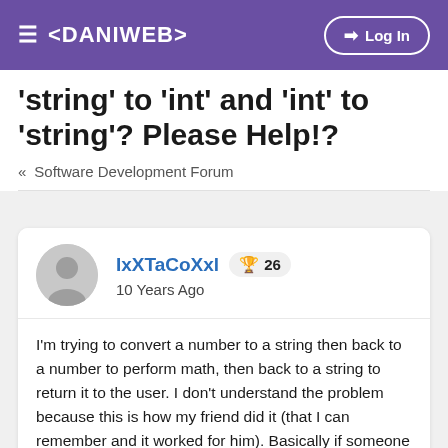≡ <DANIWEB>  ➔ Log In
'string' to 'int' and 'int' to 'string'? Please Help!?
« Software Development Forum
IxXTaCoXxl 🏆 26
10 Years Ago
I'm trying to convert a number to a string then back to a number to perform math, then back to a string to return it to the user. I don't understand the problem because this is how my friend did it (that I can remember and it worked for him). Basically if someone can help me with this topic it would be apreciated!
std::string Resister::CalculateResistance(int